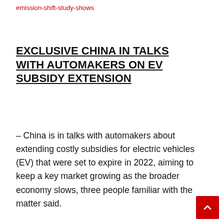emission-shift-study-shows
EXCLUSIVE CHINA IN TALKS WITH AUTOMAKERS ON EV SUBSIDY EXTENSION
– China is in talks with automakers about extending costly subsidies for electric vehicles (EV) that were set to expire in 2022, aiming to keep a key market growing as the broader economy slows, three people familiar with the matter said.